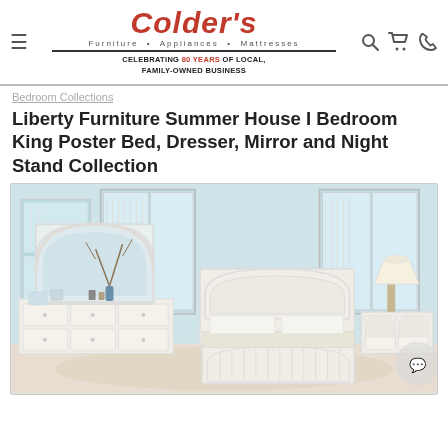Colder's Furniture • Appliances • Mattresses — CELEBRATING 80 YEARS OF LOCAL, FAMILY-OWNED BUSINESS
Bedroom Collections
Liberty Furniture Summer House I Bedroom King Poster Bed, Dresser, Mirror and Night Stand Collection
[Figure (photo): White bedroom furniture set including a king poster bed with arched headboard and footboard, a large white dresser with mirror, and a white nightstand. Room has light blue walls and large windows with white shutters. Decorative items including a blue vase with branches, small framed pictures, and a table lamp are visible.]